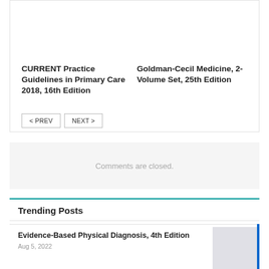CURRENT Practice Guidelines in Primary Care 2018, 16th Edition
Goldman-Cecil Medicine, 2-Volume Set, 25th Edition
< PREV   NEXT >
Comments are closed.
Trending Posts
Evidence-Based Physical Diagnosis, 4th Edition
Aug 5, 2022